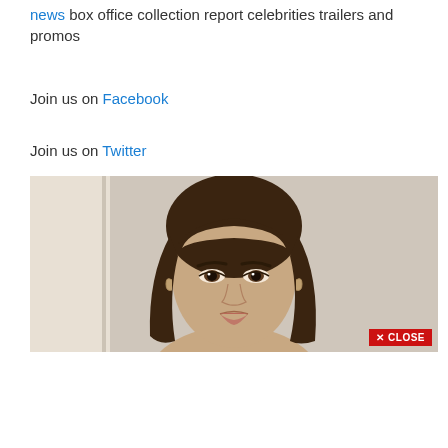news box office collection report celebrities trailers and promos
Join us on Facebook
Join us on Twitter
[Figure (photo): A young woman with long brown hair against a light beige wall, with a red CLOSE button in the bottom-right corner of the image.]